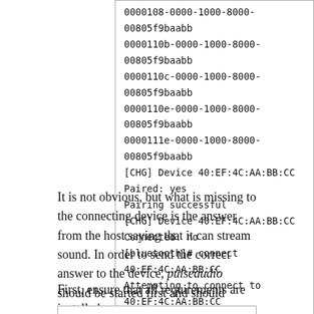[Figure (screenshot): Terminal code block showing Bluetooth pairing and connection output including UUIDs, CHG Device messages, pairing successful, connected no, connect command, attempting to connect, and failed to connect error]
It is not obvious, but what is missing to the connecting device is the answer from the host saying that it can stream sound. In order to send the correct answer to the device, pulseaudio should be started first and should correctly load the bluetooth module.
First, ensure that all requirements are installed:
[Figure (screenshot): Code block beginning (cut off at bottom of page)]